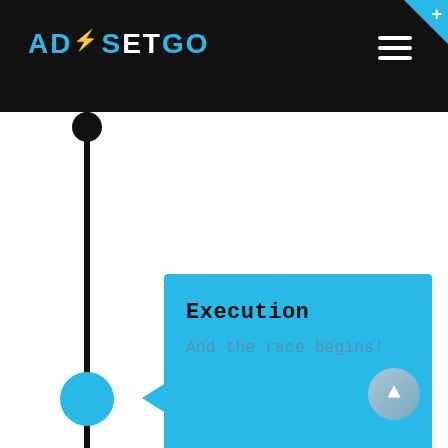[Figure (logo): AdSetGo logo with lightning bolt in cyan on black header background]
[Figure (infographic): Timeline with dark vertical line, dark circle at top, blue active circle midway, and cyan speech bubble card with left-pointing arrow containing title 'Execution' and subtext 'And the race begins!']
Execution
And the race begins!